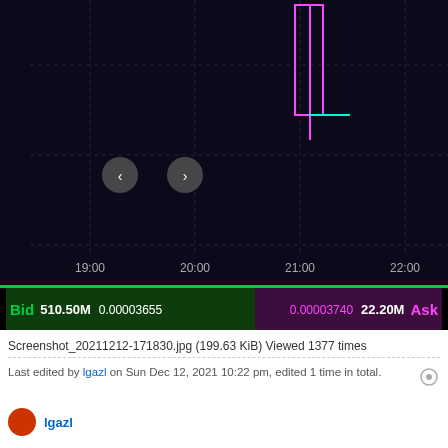[Figure (screenshot): Cryptocurrency trading chart screenshot showing candlestick/OHLC price data with MACD indicator. Price range approximately 0.00003580 to 0.00003620. Time axis shows 19:00 to 22:00. Bid: 510.50M at 0.00003655, Ask: 22.20M at 0.00003740. MACD(5,10,2) MACD:0.00000010, Signal:0.00000008, Histogram:0.00000001.]
Screenshot_20211212-171830.jpg (199.63 KiB) Viewed 1377 times
Last edited by lgazl on Sun Dec 12, 2021 10:22 pm, edited 1 time in total.
lgazl